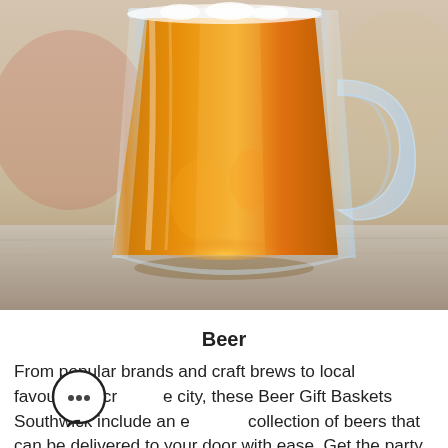[Figure (photo): Close-up photo of a glass beer mug filled with golden amber beer sitting on a wooden table. The mug has a handle on the right side. The background is blurred with warm tones.]
Beer
From popular brands and craft brews to local favourites across the city, these Beer Gift Baskets Southwick include an extensive collection of beers that can be delivered to your door with ease. Get the party started with a crate of beer and make it an occasion to remember!